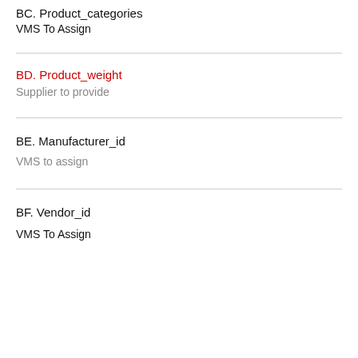BC. Product_categories
VMS To Assign
BD. Product_weight
Supplier to provide
BE. Manufacturer_id
VMS to assign
BF. Vendor_id
VMS To Assign